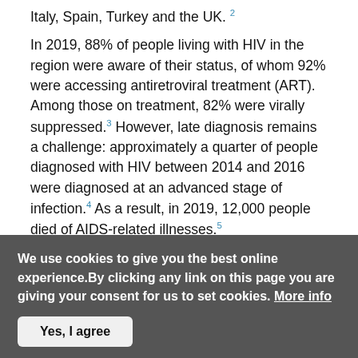Italy, Spain, Turkey and the UK. 2
In 2019, 88% of people living with HIV in the region were aware of their status, of whom 92% were accessing antiretroviral treatment (ART). Among those on treatment, 82% were virally suppressed.3 However, late diagnosis remains a challenge: approximately a quarter of people diagnosed with HIV between 2014 and 2016 were diagnosed at an advanced stage of infection.4 As a result, in 2019, 12,000 people died of AIDS-related illnesses.5
In 2014, nine out of 10 new infections were among key affected populations and their sexual partners. HIV prevalence is also considerably higher among key affected populations. However, the populations most affected by HIV
We use cookies to give you the best online experience.By clicking any link on this page you are giving your consent for us to set cookies. More info
Yes, I agree